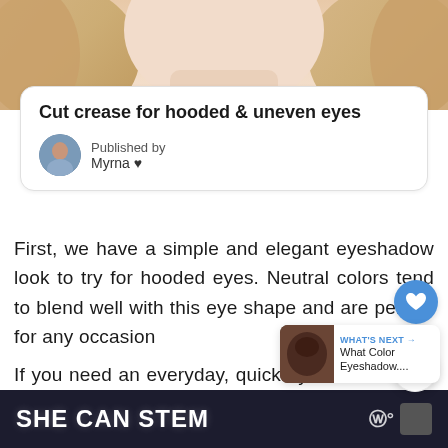[Figure (photo): Close-up photo of a woman with blonde hair, cropped to show lower face and neck area]
Cut crease for hooded & uneven eyes
Published by
Myrna ♥
First, we have a simple and elegant eyeshadow look to try for hooded eyes. Neutral colors tend to blend well with this eye shape and are perfect for any occasion
If you need an everyday, quick eyeshadow idea, we think this is a good option consider.
WHAT'S NEXT → What Color Eyeshadow....
SHE CAN STEM